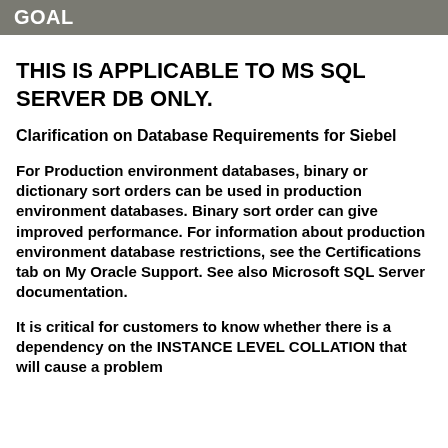GOAL
THIS IS APPLICABLE TO MS SQL SERVER DB ONLY.
Clarification on Database Requirements for Siebel
For Production environment databases, binary or dictionary sort orders can be used in production environment databases. Binary sort order can give improved performance. For information about production environment database restrictions, see the Certifications tab on My Oracle Support. See also Microsoft SQL Server documentation.
It is critical for customers to know whether there is a dependency on the INSTANCE LEVEL COLLATION that will cause a problem